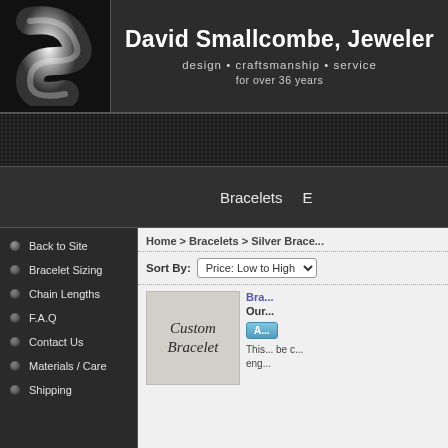[Figure (logo): David Smallcombe Jeweler website header with logo (stylized silver S shape) and site title]
David Smallcombe, Jeweler
design • craftsmanship • service
for over 36 years
Bracelets
Back to Site
Bracelet Sizing
Chain Lengths
F.A.Q
Contact Us
Materials / Care
Shipping
Home > Bracelets > Silver Brace...
Sort By: Price: Low to High
[Figure (photo): Product image showing Custom Bracelet engraving sample]
Bra...
Our...
This... be c... eng...